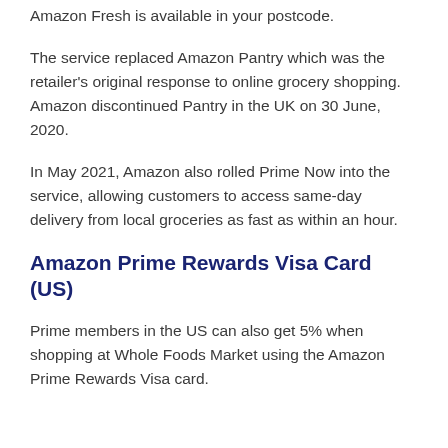Amazon Fresh is available in your postcode.
The service replaced Amazon Pantry which was the retailer's original response to online grocery shopping. Amazon discontinued Pantry in the UK on 30 June, 2020.
In May 2021, Amazon also rolled Prime Now into the service, allowing customers to access same-day delivery from local groceries as fast as within an hour.
Amazon Prime Rewards Visa Card (US)
Prime members in the US can also get 5% when shopping at Whole Foods Market using the Amazon Prime Rewards Visa card.